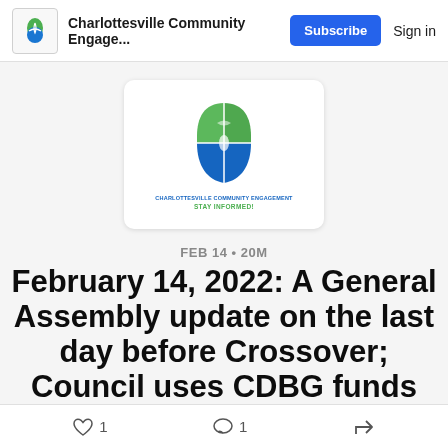Charlottesville Community Engage... Subscribe Sign in
[Figure (logo): Charlottesville Community Engagement logo — green and blue computer mouse icon with text 'CHARLOTTESVILLE COMMUNITY ENGAGEMENT' and 'STAY INFORMED!']
FEB 14 • 20M
February 14, 2022: A General Assembly update on the last day before Crossover; Council uses CDBG funds
1 like • 1 comment • share